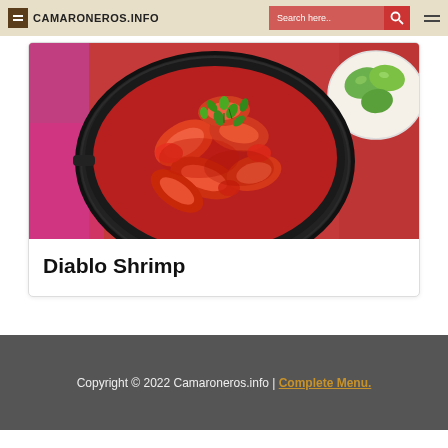CAMARONEROS.INFO
[Figure (photo): A dark cast-iron skillet filled with Diablo Shrimp in red sauce, garnished with cilantro leaves. A small white plate with lime wedges is visible in the upper right. The background is a colorful red and purple cloth.]
Diablo Shrimp
Copyright © 2022 Camaroneros.info | Complete Menu.